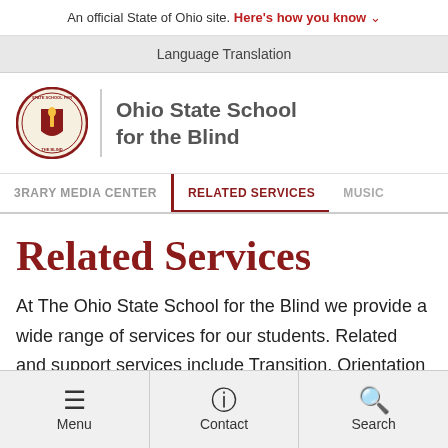An official State of Ohio site. Here's how you know ∨
Language Translation
[Figure (logo): Ohio State School for the Blind circular seal/logo with shield and torch]
Ohio State School for the Blind
3RARY MEDIA CENTER | RELATED SERVICES | MUSIC
Related Services
At The Ohio State School for the Blind we provide a wide range of services for our students. Related and support services include Transition, Orientation and
Menu | Contact | Search